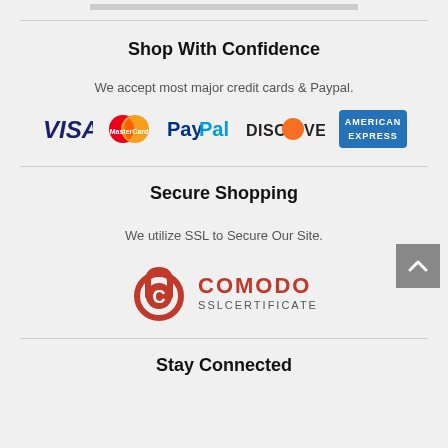[Figure (other): Gray progress/loading bar at top]
Shop With Confidence
We accept most major credit cards & Paypal.
[Figure (logo): Payment logos: VISA, MasterCard, PayPal, DISCOVER, AMERICAN EXPRESS]
[Figure (other): Back to top button with upward chevron]
Secure Shopping
We utilize SSL to Secure Our Site.
[Figure (logo): Comodo SSL Certificate logo]
Stay Connected